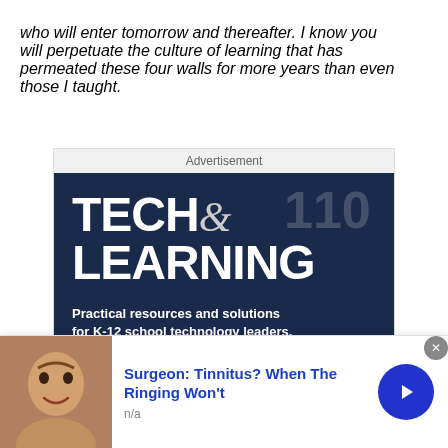who will enter tomorrow and thereafter. I know you will perpetuate the culture of learning that has permeated these four walls for more years than even those I taught.
[Figure (infographic): Advertisement banner for Tech & Learning magazine. Dark navy background with bold white text reading 'TECH& LEARNING'. Subtitle: 'Practical resources and solutions for K-12 school technology leaders.' Orange subscribe button at bottom partially visible.]
[Figure (infographic): Bottom advertisement bar: photo of person, blue headline text 'Surgeon: Tinnitus? When The Ringing Won't', source 'n/a', blue circle arrow button, close X button.]